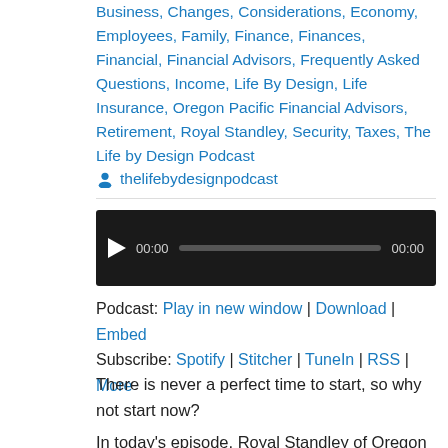Business, Changes, Considerations, Economy, Employees, Family, Finance, Finances, Financial, Financial Advisors, Frequently Asked Questions, Income, Life By Design, Life Insurance, Oregon Pacific Financial Advisors, Retirement, Royal Standley, Security, Taxes, The Life by Design Podcast     thelifebydesignpodcast
[Figure (other): Audio player with play button, time display 00:00, progress bar, and end time 00:00 on black background]
Podcast: Play in new window | Download | Embed
Subscribe: Spotify | Stitcher | TuneIn | RSS | More
There is never a perfect time to start, so why not start now?
In today's episode, Royal Standley of Oregon Pacific Financial Advisors shares his experience on setting goals. Whether you are looking to set short-term or long-term goals Royal explains ways to implement goal setting tactics into your financial life...